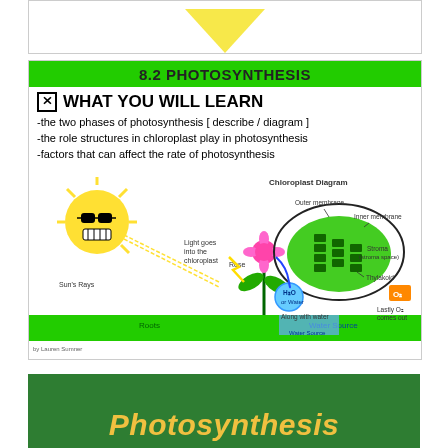[Figure (other): Partial view of yellow downward-pointing arrow at top of page]
8.2 PHOTOSYNTHESIS
☒ WHAT YOU WILL LEARN
-the two phases of photosynthesis [ describe / diagram ]
-the role structures in chloroplast play in photosynthesis
-factors that can affect the rate of photosynthesis
[Figure (illustration): Chloroplast diagram showing sun with sunglasses, flower/plant, light entering chloroplast, inner membrane, outer membrane, Stroma (stroma space), Thylakoid, H2O or Water label, O2 box, Sun's Rays label, Water Source and Roots labels at bottom green strip. Caption: by Lauren Sumner]
Photosynthesis